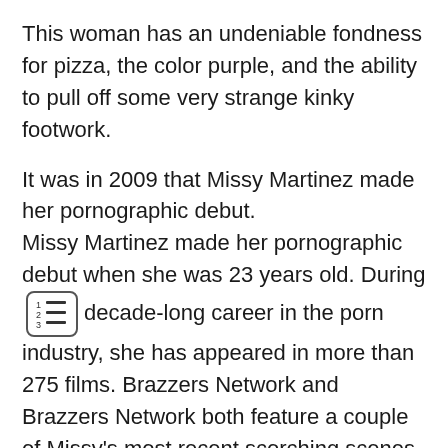This woman has an undeniable fondness for pizza, the color purple, and the ability to pull off some very strange kinky footwork.
It was in 2009 that Missy Martinez made her pornographic debut. Missy Martinez made her pornographic debut when she was 23 years old. During decade-long career in the porn industry, she has appeared in more than 275 films. Brazzers Network and Brazzers Network both feature a couple of Missy's most recent scorching scenes, including Best Of Brazzers: Sharing Stepsiblings and Best Of Brazzers: Fantastic Facials.